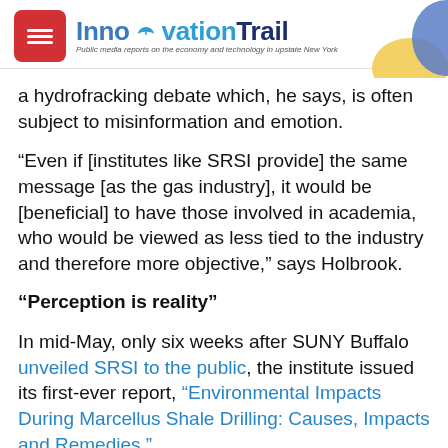InnovationTrail — Public media reports on the economy and technology in upstate New York
a hydrofracking debate which, he says, is often subject to misinformation and emotion.
“Even if [institutes like SRSI provide] the same message [as the gas industry], it would be [beneficial] to have those involved in academia, who would be viewed as less tied to the industry and therefore more objective,” says Holbrook.
“Perception is reality”
In mid-May, only six weeks after SUNY Buffalo unveiled SRSI to the public, the institute issued its first-ever report, “Environmental Impacts During Marcellus Shale Drilling: Causes, Impacts and Remedies.”